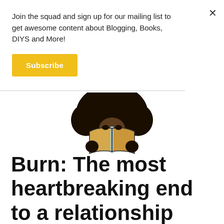Join the squad and sign up for our mailing list to get awesome content about Blogging, Books, DIYS and More!
Subscribe
[Figure (illustration): Illustration of a person with a large dark afro hairstyle holding an open book in front of their face, obscuring it. The book is tan/golden colored with a light blue spine. The figure's hands are dark and visible at the sides of the book.]
Burn: The most heartbreaking end to a relationship you've ever read (SPOILERS!)